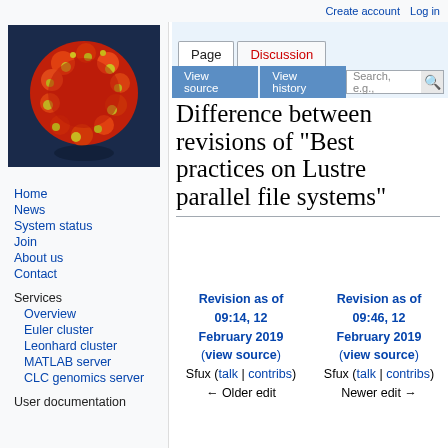Create account   Log in
[Figure (photo): Microscopy image of red and orange spherical particles (likely virus or cells) on dark blue background]
Home
News
System status
Join
About us
Contact
Services
Overview
Euler cluster
Leonhard cluster
MATLAB server
CLC genomics server
User documentation
Difference between revisions of "Best practices on Lustre parallel file systems"
| Revision as of 09:14, 12 February 2019 | Revision as of 09:46, 12 February 2019 |
| --- | --- |
| (view source) | (view source) |
| Sfux (talk | contribs) | Sfux (talk | contribs) |
| ← Older edit | Newer edit → |